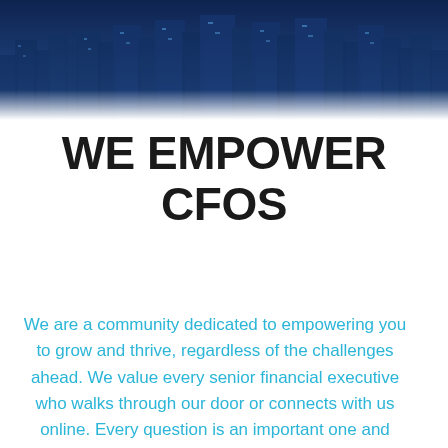[Figure (photo): Dark blue-tinted aerial cityscape photo showing skyscrapers and urban buildings at night or dusk, used as a hero banner image at the top of the page.]
WE EMPOWER CFOS
We are a community dedicated to empowering you to grow and thrive, regardless of the challenges ahead. We value every senior financial executive who walks through our door or connects with us online. Every question is an important one and every perspective is one to be heard.